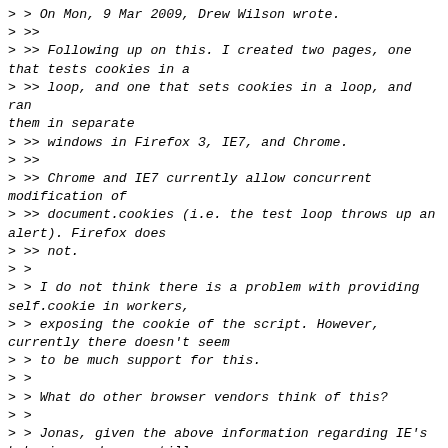> > On Mon, 9 Mar 2009, Drew Wilson wrote:
> >>
> >> Following up on this. I created two pages, one that tests cookies in a
> >> loop, and one that sets cookies in a loop, and ran them in separate
> >> windows in Firefox 3, IE7, and Chrome.
> >>
> >> Chrome and IE7 currently allow concurrent modification of
> >> document.cookies (i.e. the test loop throws up an alert). Firefox does
> >> not.
> >
> > I do not think there is a problem with providing self.cookie in workers,
> > exposing the cookie of the script. However, currently there doesn't seem
> > to be much support for this.
> >
> > What do other browser vendors think of this?
> >
> > Jonas, given the above information regarding IE's behaviour, do you still
> > think that providing such an API in workers is a problem?
>
> It's the vendors that have exposed their users to this inconsistency
> that you should ask. Or maybe sites that use document.cookie a lot and